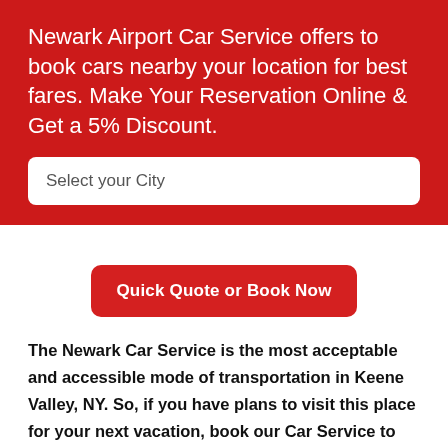Newark Airport Car Service offers to book cars nearby your location for best fares. Make Your Reservation Online & Get a 5% Discount.
Select your City
Quick Quote or Book Now
The Newark Car Service is the most acceptable and accessible mode of transportation in Keene Valley, NY. So, if you have plans to visit this place for your next vacation, book our Car Service to Newark Airport to partner you for providing the top-notch service with utmost reliability and punctuality. Our highly trained and skilled chauffeur service at EWR